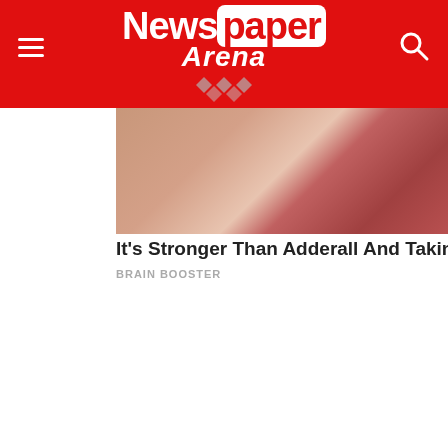[Figure (logo): Newspaper Arena website header with red background, hamburger menu icon on left, search icon on right, and Newspaper Arena logo in center]
[Figure (photo): Close-up photo of skin texture, showing detailed skin surface]
It's Stronger Than Adderall And Taking Vi
BRAIN BOOSTER